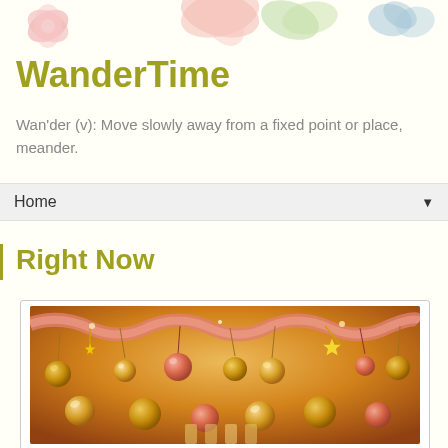[Figure (illustration): Decorative floral banner at top of page with pink and teal flower/leaf shapes on light cream background]
WanderTime
Wan'der (v): Move slowly away from a fixed point or place, meander.
Home ▼
Right Now
[Figure (photo): Holiday Christmas ornaments — gold and pink baubles, star ornaments, and tinsel hanging decoratively, with champagne glasses visible at the bottom]